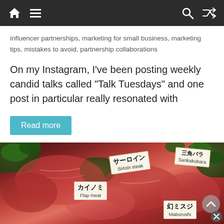Navigation bar with home, menu, search, and shuffle icons
influencer partnerships, marketing for small business, marketing tips, mistakes to avoid, partnership collaborations
On my Instagram, I've been posting weekly candid talks called “Talk Tuesdays” and one post in particular really resonated with
Read more
[Figure (photo): Photo of assorted Japanese wagyu beef cuts arranged on a platter with greenery, with label tags identifying: サーロイン (Sirloin steak), 三角バラ (Sankakubara), カイノミ (Flap meat), and 幻ミスジ Maboroshi]